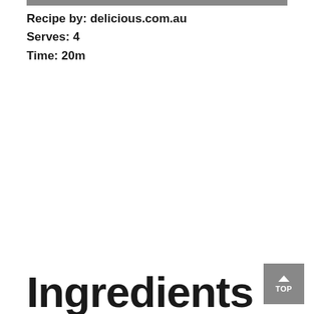[Figure (photo): Partial image strip at the top of the page showing a food photo cropped at the top edge.]
Recipe by: delicious.com.au
Serves: 4
Time: 20m
Ingredients